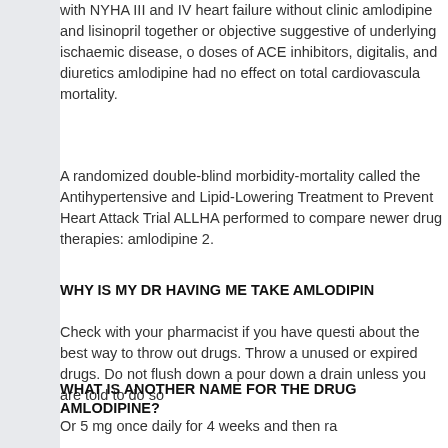with NYHA III and IV heart failure without clinic amlodipine and lisinopril together or objective suggestive of underlying ischaemic disease, o doses of ACE inhibitors, digitalis, and diuretics amlodipine had no effect on total cardiovascula mortality.
A randomized double-blind morbidity-mortality called the Antihypertensive and Lipid-Lowering Treatment to Prevent Heart Attack Trial ALLHA performed to compare newer drug therapies: amlodipine 2.
WHY IS MY DR HAVING ME TAKE AMLODIPIN
Check with your pharmacist if you have questi about the best way to throw out drugs. Throw a unused or expired drugs. Do not flush down a pour down a drain unless you are told to do so
WHAT IS ANOTHER NAME FOR THE DRUG AMLODIPINE?
Or 5 mg once daily for 4 weeks and then ra